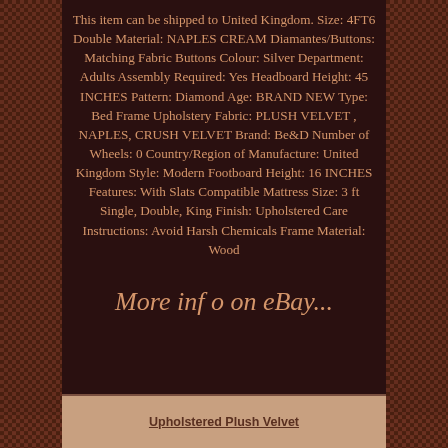This item can be shipped to United Kingdom. Size: 4FT6 Double Material: NAPLES CREAM Diamantes/Buttons: Matching Fabric Buttons Colour: Silver Department: Adults Assembly Required: Yes Headboard Height: 45 INCHES Pattern: Diamond Age: BRAND NEW Type: Bed Frame Upholstery Fabric: PLUSH VELVET , NAPLES, CRUSH VELVET Brand: Be&D Number of Wheels: 0 Country/Region of Manufacture: United Kingdom Style: Modern Footboard Height: 16 INCHES Features: With Slats Compatible Mattress Size: 3 ft Single, Double, King Finish: Upholstered Care Instructions: Avoid Harsh Chemicals Frame Material: Wood
More info on eBay...
Upholstered Plush Velvet